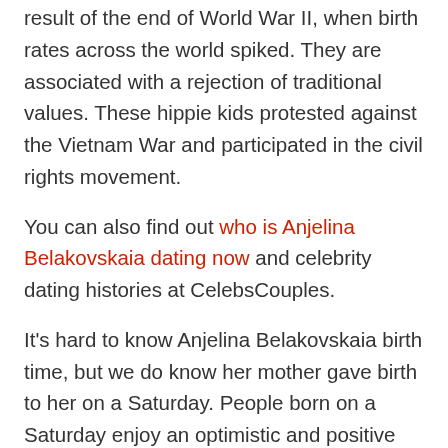result of the end of World War II, when birth rates across the world spiked. They are associated with a rejection of traditional values. These hippie kids protested against the Vietnam War and participated in the civil rights movement.
You can also find out who is Anjelina Belakovskaia dating now and celebrity dating histories at CelebsCouples.
It's hard to know Anjelina Belakovskaia birth time, but we do know her mother gave birth to her on a Saturday. People born on a Saturday enjoy an optimistic and positive